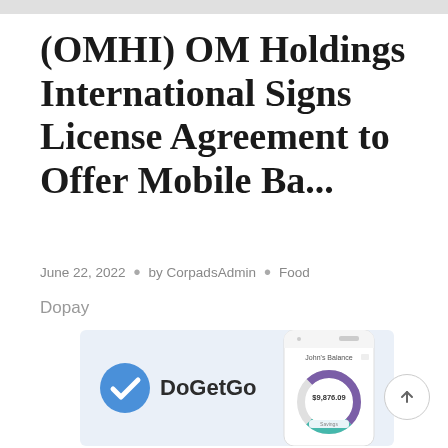(OMHI) OM Holdings International Signs License Agreement to Offer Mobile Ba...
June 22, 2022  •  by CorpadsAdmin  •  Food
Dopay
[Figure (illustration): DoGetGo logo with blue checkmark circle on left, and a mobile phone screen showing 'John's Balance' with a donut chart displaying $9,876.09 on the right, on a light blue-grey background.]